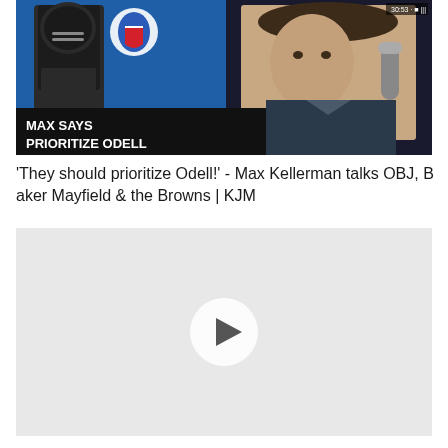[Figure (screenshot): ESPN KJM show thumbnail with text 'MAX SAYS PRIORITIZE ODELL' overlaid on image of NFL player and host Max Kellerman at microphone]
'They should prioritize Odell!' - Max Kellerman talks OBJ, Baker Mayfield & the Browns | KJM
[Figure (screenshot): Second video thumbnail placeholder with play button icon, light gray background]